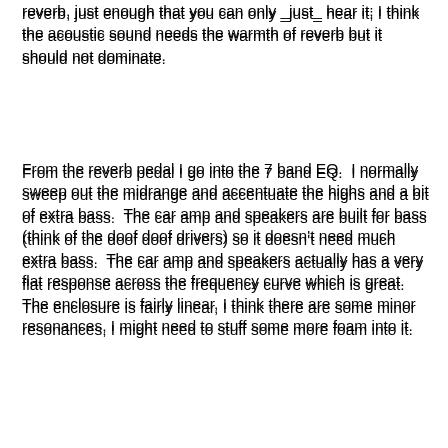reverb, just enough that you can only _just_ hear it; I think the acoustic sound needs the warmth of reverb but it should not dominate.
From the reverb pedal I go into the 7 band EQ.  I normally sweep out the midrange and accentuate the highs and a bit of extra bass.  The car amp and speakers are built for bass (think of the doof doof drivers) so it doesn't need much extra bass.  The car amp and speakers actually has a very flat response across the frequency curve which is great.  The enclosure is fairly linear, I think there are some minor resonances, I might need to stuff some more foam into it.
So I can do a basic 3 band EQ tweak on the guitar (normally leave flat) into the reverb, then do a post 7 band EQ tweak, then into the amp.  I've found I can pretty much get a good sound with this setup.
I'll have more to say about the amp and the sound and playing at gigs in the next few months; I'm still looking for a cafe to play during lunch times, haven't had much response so far (talked to two), but I'm not pushing it.  I'm probably